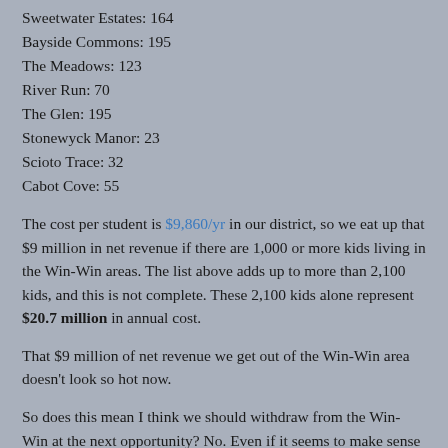Sweetwater Estates: 164
Bayside Commons: 195
The Meadows: 123
River Run: 70
The Glen: 195
Stonewyck Manor: 23
Scioto Trace: 32
Cabot Cove: 55
The cost per student is $9,860/yr in our district, so we eat up that $9 million in net revenue if there are 1,000 or more kids living in the Win-Win areas. The list above adds up to more than 2,100 kids, and this is not complete. These 2,100 kids alone represent $20.7 million in annual cost.
That $9 million of net revenue we get out of the Win-Win area doesn't look so hot now.
So does this mean I think we should withdraw from the Win-Win at the next opportunity? No. Even if it seems to make sense from a fiscal standpoint, these neighborhoods are part of the Hilliard community. Hilliard City Schools did not annex